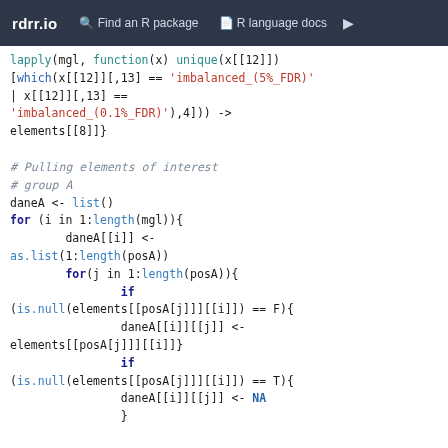rdrr.io   Find an R package   R language docs
lapply(mgl, function(x) unique(x[[12]])
[which(x[[12]][,13] == 'imbalanced_(5%_FDR)'
| x[[12]][,13] ==
'imbalanced_(0.1%_FDR)'),4])) ->
elements[[8]]}

# Pulling elements of interest
# group A
daneA <- list()
for (i in 1:length(mgl)){
        daneA[[i]] <-
as.list(1:length(posA))
        for(j in 1:length(posA)){
                if
(is.null(elements[[posA[j]]][[i]]) == F){
                daneA[[i]][[j]] <-
elements[[posA[j]]][[i]]}
                if
(is.null(elements[[posA[j]]][[i]]) == T){
                daneA[[i]][[j]] <- NA
                }